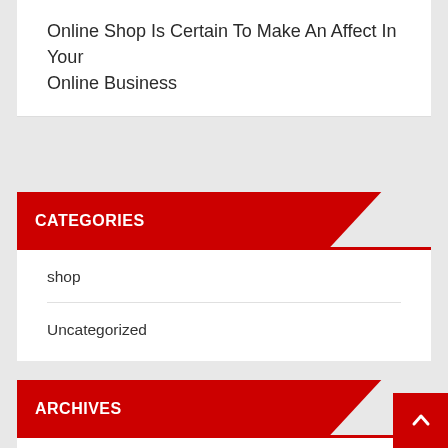Online Shop Is Certain To Make An Affect In Your Online Business
CATEGORIES
shop
Uncategorized
ARCHIVES